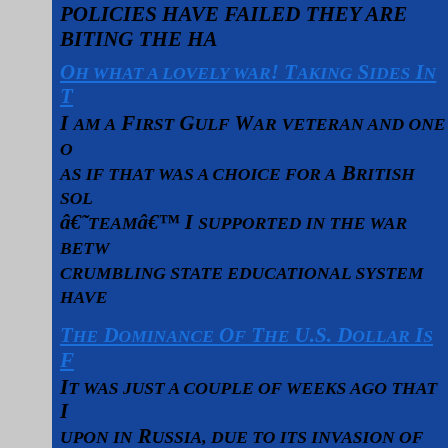POLICIES HAVE FAILED THEY ARE BITING THE HA
OH WHAT A LOVELY WAR! TAKING SIDES IN TH
I AM A FIRST GULF WAR VETERAN AND ONE O AS IF THAT WAS A CHOICE FOR A BRITISH SOL â€˜TEAMâ€™ I SUPPORTED IN THE WAR BETW CRUMBLING STATE EDUCATIONAL SYSTEM HAVE
THE DOMINANCE OF THE U.S. DOLLAR IS FA
IT WAS JUST A COUPLE OF WEEKS AGO THAT I UPON IN RUSSIA, DUE TO ITS INVASION OF UKR WOULD BIFURCATE THE GLOBAL MONETARY SYS RESERVE STATUS.
NOW, SAUDI ARABIA IS joining the fray, FU THAT HAVE KEPT THE U.S. DOLLAR AFLOAT FO